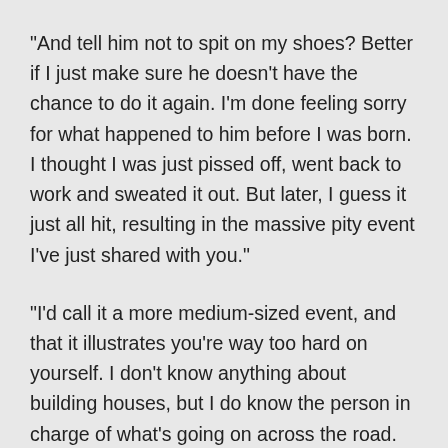"And tell him not to spit on my shoes? Better if I just make sure he doesn't have the chance to do it again. I'm done feeling sorry for what happened to him before I was born. I thought I was just pissed off, went back to work and sweated it out. But later, I guess it just all hit, resulting in the massive pity event I've just shared with you."
"I'd call it a more medium-sized event, and that it illustrates you're way too hard on yourself. I don't know anything about building houses, but I do know the person in charge of what's going on across the road. She's no screwup. She's smart and bold and she works for what she wants. She may not have the mystical powers of the goddess but..." He tapped one of the sketches. "That's her. That's you, Cilla. Just the way I see you." He took down one of Brid, gripping a two-headed hammer in both hands, her face alive with power and